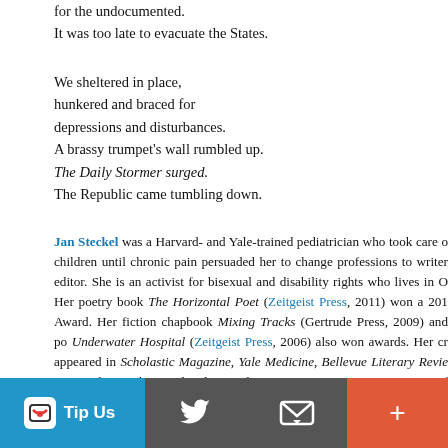for the undocumented.
It was too late to evacuate the States.

We sheltered in place,
hunkered and braced for
depressions and disturbances.
A brassy trumpet’s wall rumbled up.
The Daily Stormer surged.
The Republic came tumbling down.
Jan Steckel was a Harvard- and Yale-trained pediatrician who took care of children until chronic pain persuaded her to change professions to writer/editor. She is an activist for bisexual and disability rights who lives in O... Her poetry book The Horizontal Poet (Zeitgeist Press, 2011) won a 201... Award. Her fiction chapbook Mixing Tracks (Gertrude Press, 2009) and po... Underwater Hospital (Zeitgeist Press, 2006) also won awards. Her cr... appeared in Scholastic Magazine, Yale Medicine, Bellevue Literary Revie... Her work won the Goodreads Newsletter Poetry Contest, a Zeiser Grant f... the Jewel by the Bay Poetry Competition, Triplopia’s Best of the Best com... Pushcart nominations.